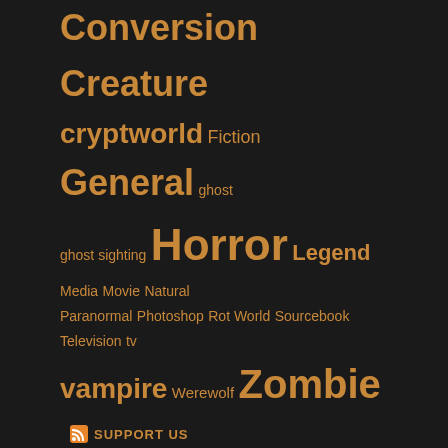Conversion Creature cryptworld Fiction General ghost ghost sighting Horror Legend Media Movie Natural Paranormal Photoshop Rot World Sourcebook Television tv vampire Werewolf Zombie
SUPPORT US
Arcanoi Reference Sheets
Fearsome Foes: Mortician PF2
AEDOOM1 - Doomtech Core Set
Into the Cess and Citadel
Mutant Year Zero: Quick Reference Guide
META
Log in
Entries feed